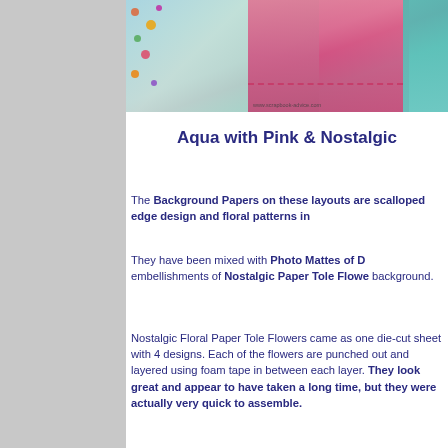[Figure (photo): Scrapbook layout photo showing aqua and pink floral patterned paper with pink photo matte sections, scalloped edges, and floral embellishments. Watermark reads www.scrapbook-advice.com]
Aqua with Pink & Nostalgic
The Background Papers on these layouts are scalloped edge design and floral patterns in
They have been mixed with Photo Mattes of D embellishments of Nostalgic Paper Tole Flowe background.
Nostalgic Floral Paper Tole Flowers came as one die-cut sheet with 4 designs. Each of the flowers are punched out and layered using foam tape in between each layer. They look great and appear to have taken a long time, but they were actually very quick to assemble.